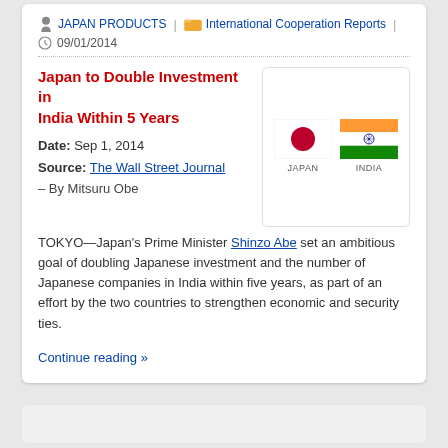JAPAN PRODUCTS | International Cooperation Reports | 09/01/2014
Japan to Double Investment in India Within 5 Years
Date: Sep 1, 2014
Source: The Wall Street Journal
– By Mitsuru Obe
[Figure (illustration): Flags of Japan and India side by side with country labels below]
TOKYO—Japan's Prime Minister Shinzo Abe set an ambitious goal of doubling Japanese investment and the number of Japanese companies in India within five years, as part of an effort by the two countries to strengthen economic and security ties.
Continue reading »